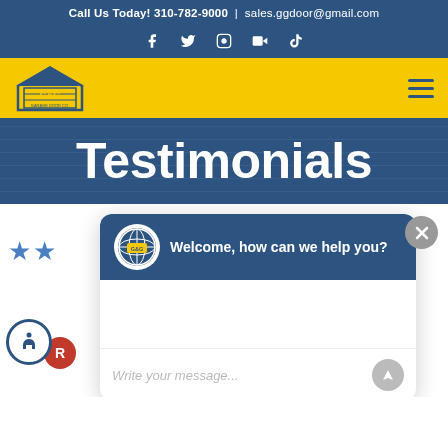Call Us Today! 310-782-9000 | sales.ggdoor@gmail.com
[Figure (logo): Social media icons: Facebook, Twitter, Instagram, YouTube, TikTok on dark blue background]
[Figure (logo): G&G Garage Door Co. logo on yellow navigation bar with hamburger menu icon]
Testimonials
[Figure (screenshot): Chat widget popup with G&G Garage Door logo, message 'Welcome, how can we help you?' and text input field saying 'Write your message...']
The technician that came to my place